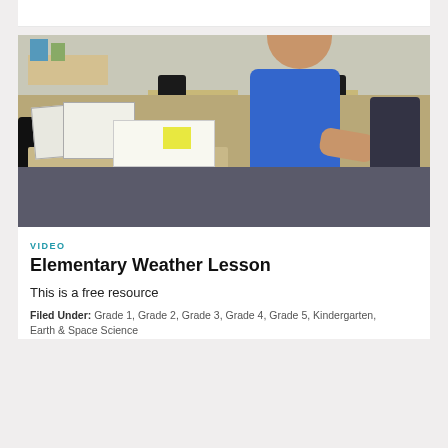[Figure (photo): A female teacher with dark hair wearing a blue top sits at a classroom desk covered with binders and papers. The classroom has student desks and chairs visible in the background.]
VIDEO
Elementary Weather Lesson
This is a free resource
Filed Under: Grade 1, Grade 2, Grade 3, Grade 4, Grade 5, Kindergarten, Earth & Space Science